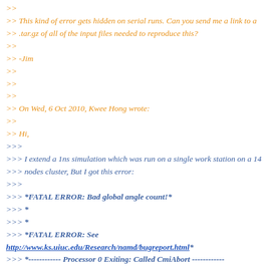>> 
>> This kind of error gets hidden on serial runs. Can you send me a link to a
>> .tar.gz of all of the input files needed to reproduce this?
>>
>> -Jim
>>
>>
>>
>> On Wed, 6 Oct 2010, Kwee Hong wrote:
>>
>> Hi,
>>>
>>> I extend a 1ns simulation which was run on a single work station on a 14
>>> nodes cluster, But I got this error:
>>>
>>> *FATAL ERROR: Bad global angle count!*
>>> *
>>> *
>>> *FATAL ERROR: See http://www.ks.uiuc.edu/Research/namd/bugreport.html*
>>> *------------ Processor 0 Exiting: Called CmiAbort ------------*
>>>
>>> *Reason: FATAL ERROR: Bad global angle count!*